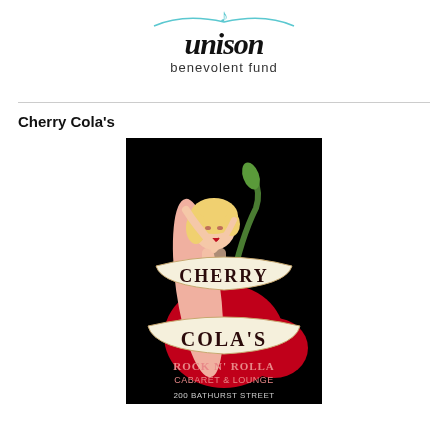[Figure (logo): Unison Benevolent Fund logo with musical note and stylized text 'unison benevolent fund']
Cherry Cola's
[Figure (illustration): Cherry Cola's Rock N' Rolla Cabaret & Lounge poster: retro pin-up illustration of a blonde woman leaning against a large cherry, with banner ribbons reading 'Cherry Cola's', and text 'Rock N' Rolla Cabaret & Lounge, 200 Bathurst Street' on a black background.]